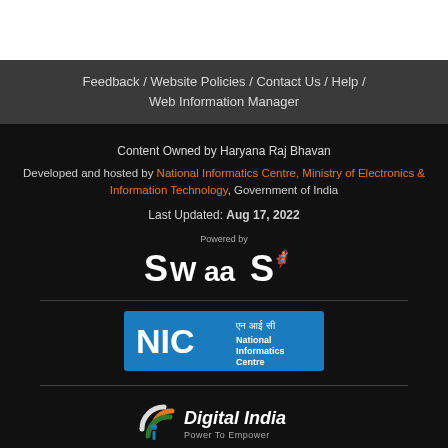Feedback / Website Policies / Contact Us / Help / Web Information Manager
Content Owned by Haryana Raj Bhavan
Developed and hosted by National Informatics Centre, Ministry of Electronics & Information Technology, Government of India
Last Updated: Aug 17, 2022
[Figure (logo): Powered by SWaaS logo — white bold text on dark background with orange sitting figure icon]
[Figure (logo): NIC National Informatics Centre blue badge logo with Hindi text]
[Figure (logo): Digital India Power To Empower logo with tricolor swirl icon]